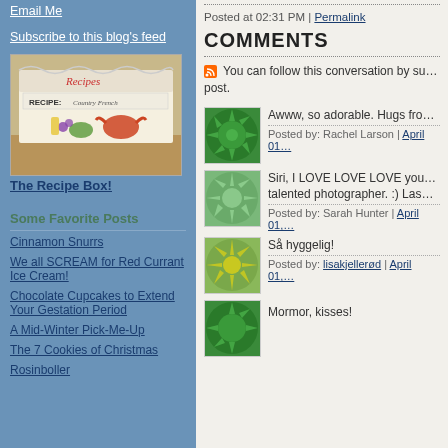Email Me
Subscribe to this blog's feed
[Figure (photo): A recipe box with illustrated seafood and vegetable decorations, labeled 'Recipes']
The Recipe Box!
Some Favorite Posts
Cinnamon Snurrs
We all SCREAM for Red Currant Ice Cream!
Chocolate Cupcakes to Extend Your Gestation Period
A Mid-Winter Pick-Me-Up
The 7 Cookies of Christmas
Rosinboller
Posted at 02:31 PM | Permalink
COMMENTS
You can follow this conversation by subscribing to the comment feed for this post.
Awww, so adorable. Hugs fro…
Posted by: Rachel Larson | April 01,…
Siri, I LOVE LOVE LOVE you… talented photographer. :) Las…
Posted by: Sarah Hunter | April 01,…
Så hyggelig!
Posted by: lisakjellerød | April 01,…
Mormor, kisses!